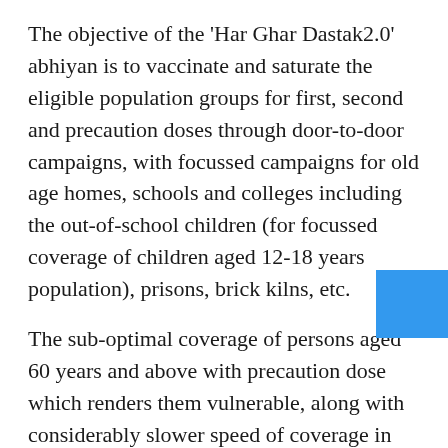The objective of the 'Har Ghar Dastak2.0' abhiyan is to vaccinate and saturate the eligible population groups for first, second and precaution doses through door-to-door campaigns, with focussed campaigns for old age homes, schools and colleges including the out-of-school children (for focussed coverage of children aged 12-18 years population), prisons, brick kilns, etc.
The sub-optimal coverage of persons aged 60 years and above with precaution dose which renders them vulnerable, along with considerably slower speed of coverage in the 12-14 years cohort was pointed out. States and union territories were urged to undertake effective monitoring with micro-plans based on due-lists of all eligible beneficiaries. They were also urged to review administration of precaution dose to 18-59 years age-group with the private hospitals on a regular basis, the statement said.
Bhushan stressed on a clear and effective communication strategy for i... the nation with COVID-19...